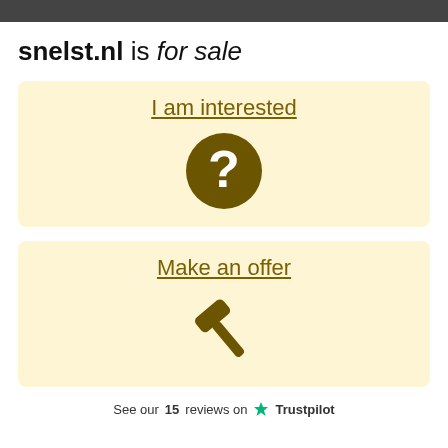snelst.nl is for sale
I am interested
[Figure (illustration): Dark olive/brown circle with white question mark inside]
Make an offer
[Figure (illustration): Dark olive/brown gavel/hammer icon]
See our 15 reviews on Trustpilot